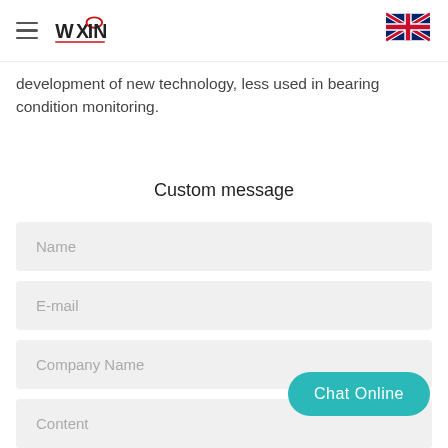WXING [logo] | UK flag
development of new technology, less used in bearing condition monitoring.
Custom message
Name
E-mail
Company Name
Content
Chat Online